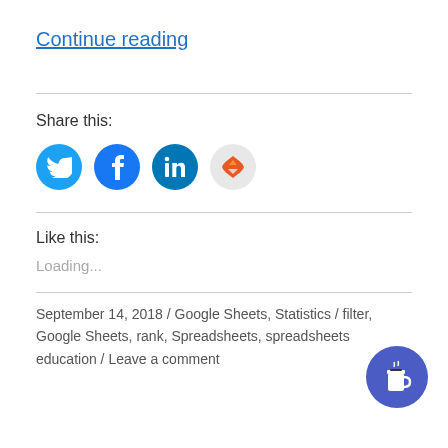Continue reading
Share this:
[Figure (illustration): Four social sharing icons: Twitter (blue circle with bird), Facebook (blue circle with f), LinkedIn (dark blue circle with in), and a red/orange puzzle piece icon on light grey circle]
Like this:
Loading...
September 14, 2018 / Google Sheets, Statistics / filter, Google Sheets, rank, Spreadsheets, spreadsheets education / Leave a comment
[Figure (illustration): Buy me a coffee button - dark blue/purple circle with a coffee cup icon]